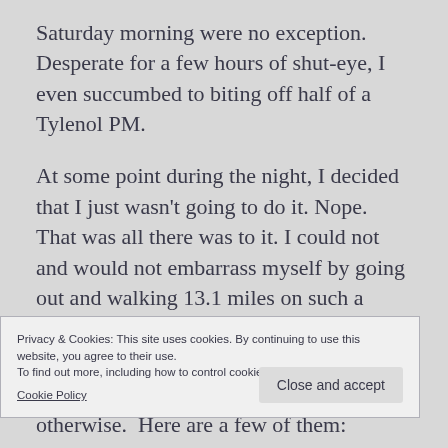Saturday morning were no exception. Desperate for a few hours of shut-eye, I even succumbed to biting off half of a Tylenol PM.
At some point during the night, I decided that I just wasn't going to do it. Nope. That was all there was to it. I could not and would not embarrass myself by going out and walking 13.1 miles on such a sleep deficit. When it began to rain, that cemented the deal. I finally dozed off, and when I awoke at 4:30 a.m., my first
Privacy & Cookies: This site uses cookies. By continuing to use this website, you agree to their use.
To find out more, including how to control cookies, see here:
Cookie Policy
Close and accept
otherwise.  Here are a few of them: